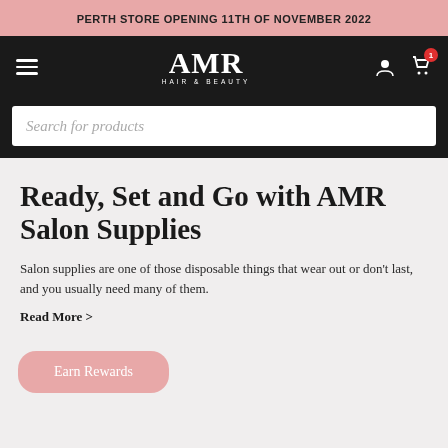PERTH STORE OPENING 11TH OF NOVEMBER 2022
[Figure (logo): AMR Hair & Beauty logo with hamburger menu, user icon, and cart icon with badge showing 1]
Search for products
Ready, Set and Go with AMR Salon Supplies
Salon supplies are one of those disposable things that wear out or don't last, and you usually need many of them.
Read More >
Earn Rewards